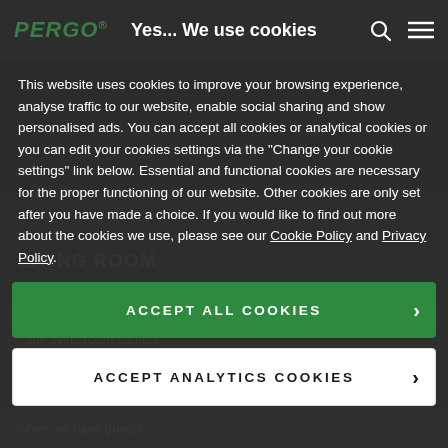PERGO  Yes... We use cookies
Yes... We use cookies
This website uses cookies to improve your browsing experience, analyse traffic to our website, enable social sharing and show personalised ads. You can accept all cookies or analytical cookies or you can edit your cookies settings via the "Change your cookie settings" link below. Essential and functional cookies are necessary for the proper functioning of our website. Other cookies are only set after you have made a choice. If you would like to find out more about the cookies we use, please see our Cookie Policy and Privacy Policy.
ACCEPT ALL COOKIES ›
ACCEPT ANALYTICS COOKIES ›